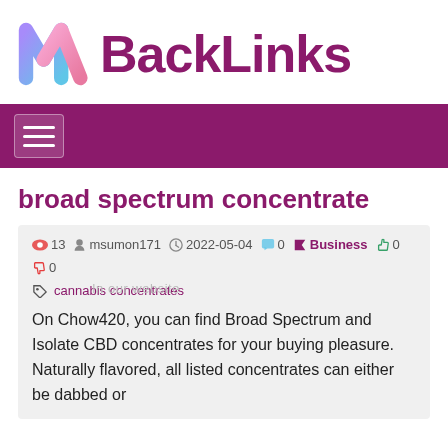[Figure (logo): MBackLinks logo with colorful M icon and purple BackLinks text]
Navigation bar with hamburger menu on purple background
broad spectrum concentrate
13  msumon171  2022-05-04  0  Business  0  0  cannabis concentrates  On Chow420, you can find Broad Spectrum and Isolate CBD concentrates for your buying pleasure. Naturally flavored, all listed concentrates can either be dabbed or